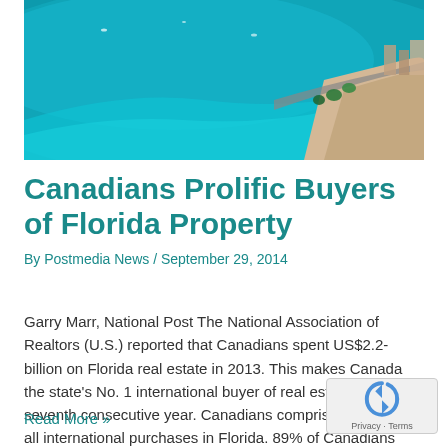[Figure (photo): Aerial view of a coastal beach with turquoise blue water, a curved shoreline road, and buildings on the right side]
Canadians Prolific Buyers of Florida Property
By Postmedia News / September 29, 2014
Garry Marr, National Post The National Association of Realtors (U.S.) reported that Canadians spent US$2.2-billion on Florida real estate in 2013. This makes Canada the state's No. 1 international buyer of real estate for the seventh consecutive year. Canadians comprised 31.6% of all international purchases in Florida. 89% of Canadians pay cash for their property …
Read More »